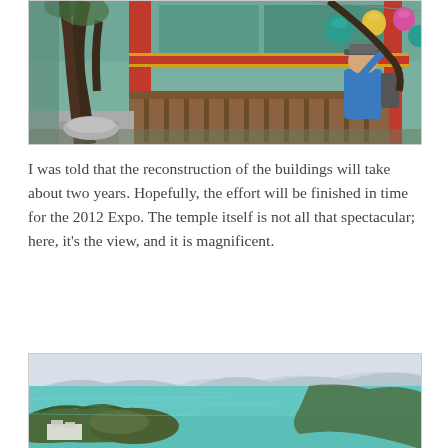[Figure (photo): Photo of a Korean temple with colorful painted wooden architecture, hanging lanterns, twisted tree trunks, and a man in a blue jacket and hat examining a branch.]
I was told that the reconstruction of the buildings will take about two years. Hopefully, the effort will be finished in time for the 2012 Expo. The temple itself is not all that spectacular; here, it's the view, and it is magnificent.
[Figure (photo): Aerial photo of a Korean coastal landscape with turquoise-blue sea, tree-covered peninsulas and islands, and white buildings visible at the lower left.]